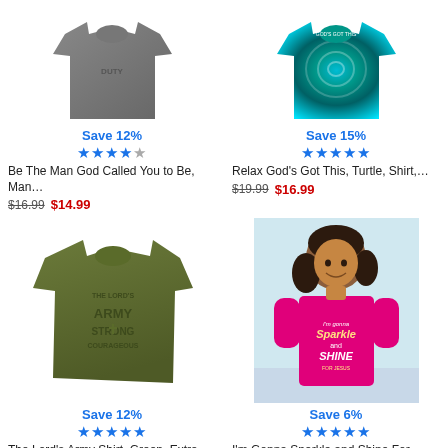[Figure (photo): Gray t-shirt product photo]
Save 12%
★★★★☆
Be The Man God Called You to Be, Man…
$16.99  $14.99
[Figure (photo): Blue/teal tie-dye t-shirt product photo]
Save 15%
★★★★★
Relax God's Got This, Turtle, Shirt,…
$19.99  $16.99
[Figure (photo): Olive green army t-shirt with 'The Lord's Army Strong Courageous' text]
Save 12%
★★★★★
The Lord's Army Shirt, Green, Extra…
$12.99  $11.99
[Figure (photo): Girl wearing pink t-shirt that says 'I'm Gonna Sparkle and Shine For Jesus']
Save 6%
★★★★★
I'm Gonna Sparkle and Shine For…
$16.99  $15.99